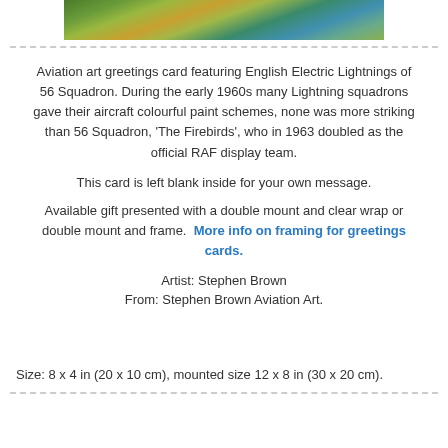[Figure (photo): Partial view of aviation art painting showing a river landscape with trees and hills in autumnal colors]
Aviation art greetings card featuring English Electric Lightnings of 56 Squadron. During the early 1960s many Lightning squadrons gave their aircraft colourful paint schemes, none was more striking than 56 Squadron, 'The Firebirds', who in 1963 doubled as the official RAF display team.
This card is left blank inside for your own message.
Available gift presented with a double mount and clear wrap or double mount and frame. More info on framing for greetings cards.
Artist: Stephen Brown
From: Stephen Brown Aviation Art.
Size: 8 x 4 in (20 x 10 cm), mounted size 12 x 8 in (30 x 20 cm).